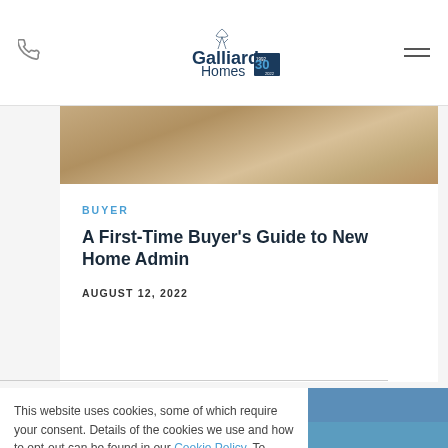Galliard Homes
[Figure (photo): Close-up of a person walking on light wood flooring, seen from the knees down]
BUYER
A First-Time Buyer's Guide to New Home Admin
AUGUST 12, 2022
This website uses cookies, some of which require your consent. Details of the cookies we use and how to opt-out can be found in our Cookie Policy. To consent click here:
I Accept